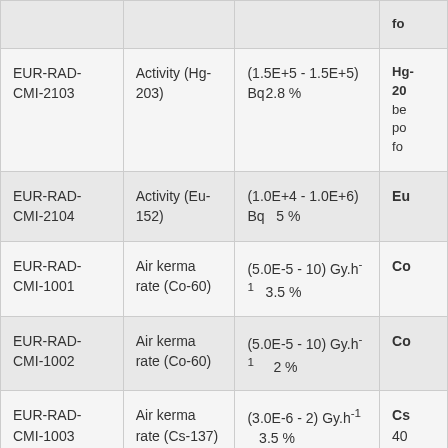| ID | Measurand | Range & Uncertainty | Notes |
| --- | --- | --- | --- |
|  |  |  |  |
| EUR-RAD-CMI-2103 | Activity (Hg-203) | (1.5E+5 - 1.5E+5) Bq  2.8 % | Hg-203 be po fo |
| EUR-RAD-CMI-2104 | Activity (Eu-152) | (1.0E+4 - 1.0E+6) Bq   5 % | Eu |
| EUR-RAD-CMI-1001 | Air kerma rate (Co-60) | (5.0E-5 - 10) Gy.h⁻¹   3.5 % | Co |
| EUR-RAD-CMI-1002 | Air kerma rate (Co-60) | (5.0E-5 - 10) Gy.h⁻¹    2 % | Co |
| EUR-RAD-CMI-1003 | Air kerma rate (Cs-137) | (3.0E-6 - 2) Gy.h⁻¹    3.5 % | Cs 40 |